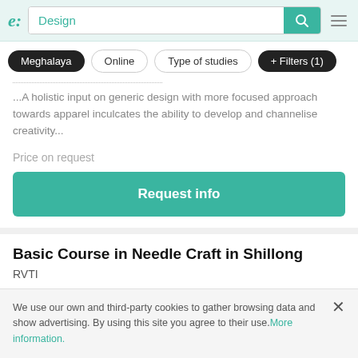e: | Design [search bar] [menu]
Meghalaya
Online
Type of studies
+ Filters (1)
...A holistic input on generic design with more focused approach towards apparel inculcates the ability to develop and channelise creativity...
Price on request
Request info
Basic Course in Needle Craft in Shillong
RVTI
We use our own and third-party cookies to gather browsing data and show advertising. By using this site you agree to their use. More information.